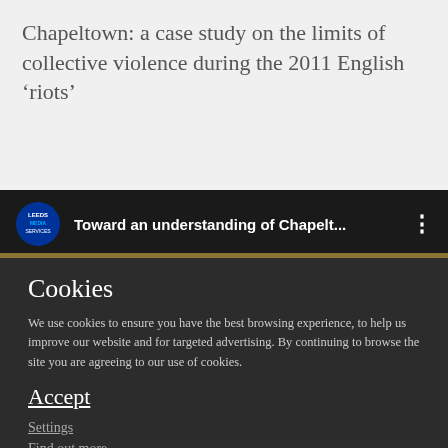Chapeltown: a case study on the limits of collective violence during the 2011 English ‘riots’
[Figure (screenshot): Video thumbnail bar showing Leeds Media Services logo and title 'Toward an understanding of Chapelt...' with a three-dot menu icon on a dark background]
Cookies
We use cookies to ensure you have the best browsing experience, to help us improve our website and for targeted advertising. By continuing to browse the site you are agreeing to our use of cookies.
Accept
Settings
Find out more